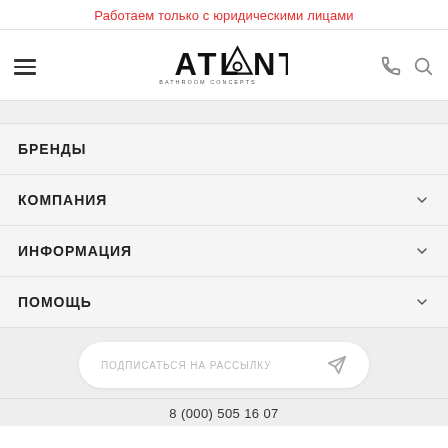Работаем только с юридическими лицами
[Figure (logo): Atlantis Bathroom Concepts logo with stylized A inside triangle]
БРЕНДЫ
КОМПАНИЯ
ИНФОРМАЦИЯ
ПОМОЩЬ
ПОДПИСАТЬСЯ НА РАССЫЛКУ
8 (000) 505 16 07